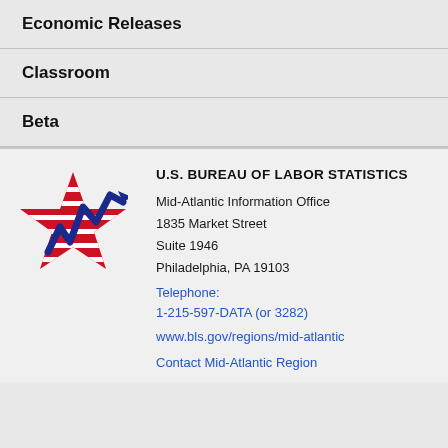Economic Releases
Classroom
Beta
[Figure (logo): U.S. Bureau of Labor Statistics logo: a red star with horizontal red stripes and a blue lightning bolt/graph line above it]
U.S. BUREAU OF LABOR STATISTICS
Mid-Atlantic Information Office
1835 Market Street
Suite 1946
Philadelphia, PA 19103
Telephone:
1-215-597-DATA (or 3282)
www.bls.gov/regions/mid-atlantic
Contact Mid-Atlantic Region